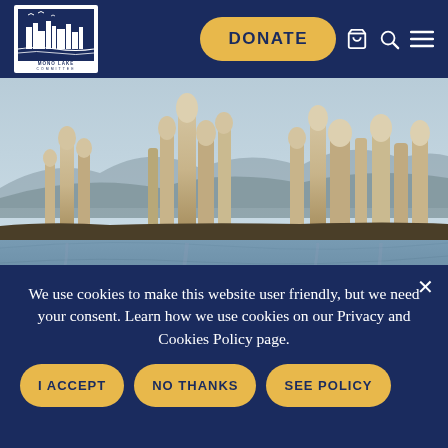[Figure (logo): Mono Lake Committee logo — white buildings/tufa silhouette with birds on dark blue background, text MONO LAKE COMMITTEE below]
DONATE
[Figure (photo): Photograph of Mono Lake tufa towers rising from the lake water with mountains in the background under a clear sky]
We use cookies to make this website user friendly, but we need your consent. Learn how we use cookies on our Privacy and Cookies Policy page.
I ACCEPT
NO THANKS
SEE POLICY